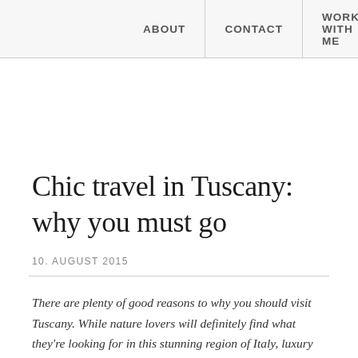ABOUT | CONTACT | WORK WITH ME
Chic travel in Tuscany: why you must go
10. AUGUST 2015
There are plenty of good reasons to why you should visit Tuscany. While nature lovers will definitely find what they're looking for in this stunning region of Italy, luxury traveler's will find